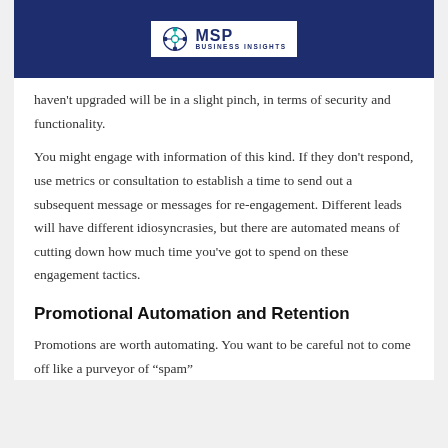MSP Business Insights
haven't upgraded will be in a slight pinch, in terms of security and functionality.
You might engage with information of this kind. If they don't respond, use metrics or consultation to establish a time to send out a subsequent message or messages for re-engagement. Different leads will have different idiosyncrasies, but there are automated means of cutting down how much time you've got to spend on these engagement tactics.
Promotional Automation and Retention
Promotions are worth automating. You want to be careful not to come off like a purveyor of “spam”